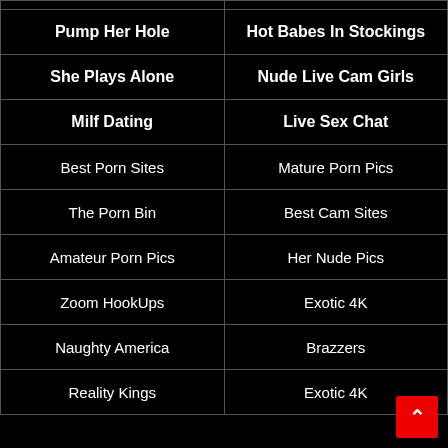| Col1 | Col2 |
| --- | --- |
| Pump Her Hole | Hot Babes In Stockings |
| She Plays Alone | Nude Live Cam Girls |
| Milf Dating | Live Sex Chat |
| Best Porn Sites | Mature Porn Pics |
| The Porn Bin | Best Cam Sites |
| Amateur Porn Pics | Her Nude Pics |
| Zoom HookUps | Exotic 4K |
| Naughty America | Brazzers |
| Reality Kings | Exotic 4K |